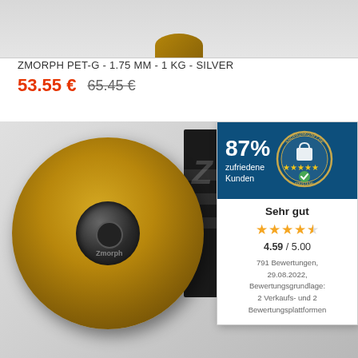[Figure (photo): Top portion of a product spool image cropped at top of page]
ZMORPH PET-G - 1.75 MM - 1 KG - SILVER
53.55 €  65.45 €
[Figure (photo): Product photo showing a gold/bronze colored 3D printing filament spool (Zmorph branded) in front of a dark box. Overlaid with a Shopauskunft.de / Trustami rating badge showing 87% satisfied customers, Sehr gut rating of 4.59/5.00 from 791 reviews.]
87% zufriedene Kunden
Sehr gut
4.59 / 5.00
791 Bewertungen, 29.08.2022, Bewertungsgrundlage: 2 Verkaufs- und 2 Bewertungsplattformen